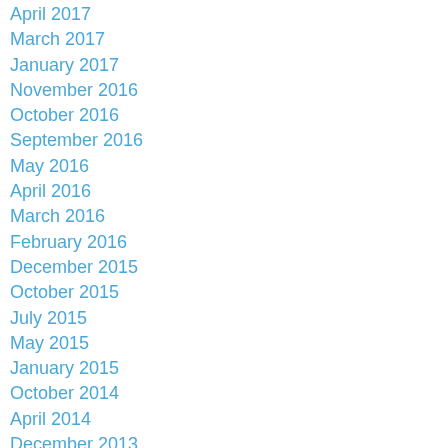April 2017
March 2017
January 2017
November 2016
October 2016
September 2016
May 2016
April 2016
March 2016
February 2016
December 2015
October 2015
July 2015
May 2015
January 2015
October 2014
April 2014
December 2013
November 2013
May 2013
April 2013